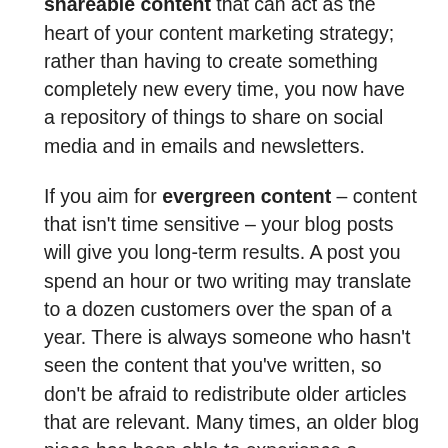Through blogging, you also create shareable content that can act as the heart of your content marketing strategy; rather than having to create something completely new every time, you now have a repository of things to share on social media and in emails and newsletters.
If you aim for evergreen content – content that isn't time sensitive – your blog posts will give you long-term results. A post you spend an hour or two writing may translate to a dozen customers over the span of a year. There is always someone who hasn't seen the content that you've written, so don't be afraid to redistribute older articles that are relevant. Many times, an older blog piece has been able to experience a second life on a new platform months after the fact.
Running a business is a million little tasks, so it may be difficult to put blogging front and centre. However, in the span of just a few hours a week, you can create content that will